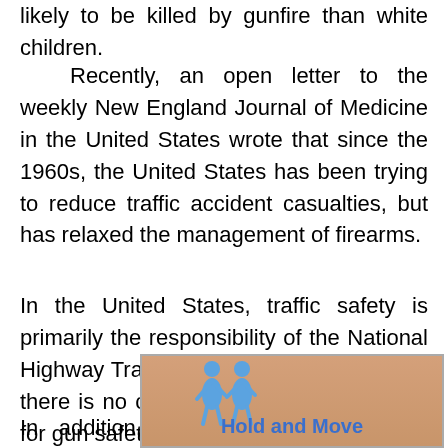likely to be killed by gunfire than white children.
Recently, an open letter to the weekly New England Journal of Medicine in the United States wrote that since the 1960s, the United States has been trying to reduce traffic accident casualties, but has relaxed the management of firearms.
In the United States, traffic safety is primarily the responsibility of the National Highway Traffic Safety Administration, but there is no corresponding control agency for gun safety.
In addition, due to the partisanship between the parties,
[Figure (screenshot): Ad overlay with 'Hold and Move' text and blue figures, Close X button visible]